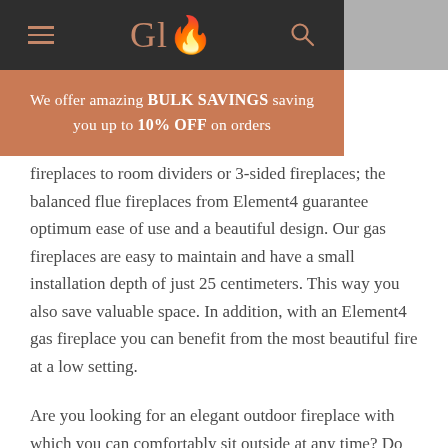Glo
We offer amazing BULK SAVINGS saving you up to 10% OFF on orders
fireplaces to room dividers or 3-sided fireplaces; the balanced flue fireplaces from Element4 guarantee optimum ease of use and a beautiful design. Our gas fireplaces are easy to maintain and have a small installation depth of just 25 centimeters. This way you also save valuable space. In addition, with an Element4 gas fireplace you can benefit from the most beautiful fire at a low setting.
Are you looking for an elegant outdoor fireplace with which you can comfortably sit outside at any time? Do you want to enjoy